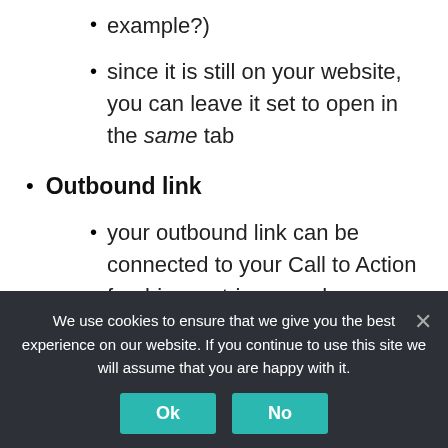example?)
since it is still on your website, you can leave it set to open in the same tab
Outbound link
your outbound link can be connected to your Call to Action freebies, opt-in, or perhaps a valuable post or video on one of your social media channels
this is NOT necessary (and you will
We use cookies to ensure that we give you the best experience on our website. If you continue to use this site we will assume that you are happy with it.